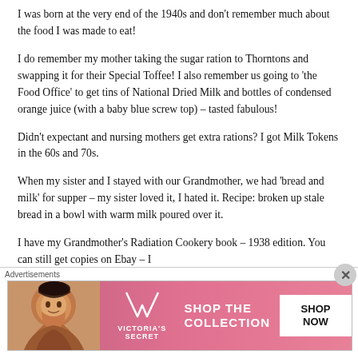I was born at the very end of the 1940s and don't remember much about the food I was made to eat!
I do remember my mother taking the sugar ration to Thorntons and swapping it for their Special Toffee! I also remember us going to 'the Food Office' to get tins of National Dried Milk and bottles of condensed orange juice (with a baby blue screw top) – tasted fabulous!
Didn't expectant and nursing mothers get extra rations? I got Milk Tokens in the 60s and 70s.
When my sister and I stayed with our Grandmother, we had 'bread and milk' for supper – my sister loved it, I hated it. Recipe: broken up stale bread in a bowl with warm milk poured over it.
I have my Grandmother's Radiation Cookery book – 1938 edition. You can still get copies on Ebay – I
Advertisements
[Figure (infographic): Victoria's Secret advertisement banner with pink background, model photo on left, VS logo in center, 'SHOP THE COLLECTION' text, and 'SHOP NOW' button on right.]